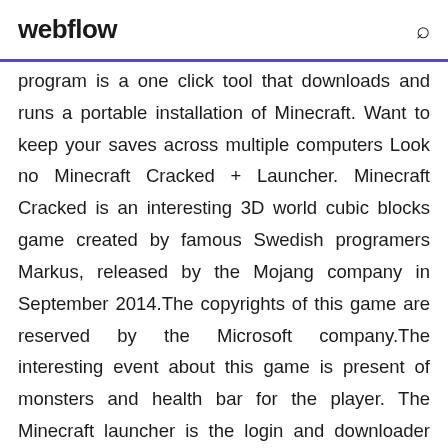webflow
program is a one click tool that downloads and runs a portable installation of Minecraft. Want to keep your saves across multiple computers Look no Minecraft Cracked + Launcher. Minecraft Cracked is an interesting 3D world cubic blocks game created by famous Swedish programers Markus, released by the Mojang company in September 2014.The copyrights of this game are reserved by the Microsoft company.The interesting event about this game is present of monsters and health bar for the player. The Minecraft launcher is the login and downloader front-end to the stand-alone client. It is responsible for downloading the main Java packages, including minecraft.jar, which holds